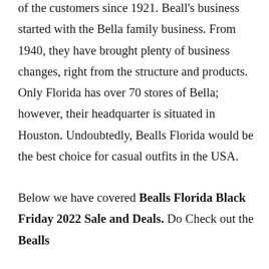of the customers since 1921. Beall's business started with the Bella family business. From 1940, they have brought plenty of business changes, right from the structure and products. Only Florida has over 70 stores of Bella; however, their headquarter is situated in Houston. Undoubtedly, Bealls Florida would be the best choice for casual outfits in the USA.
Below we have covered Bealls Florida Black Friday 2022 Sale and Deals. Do Check out the Bealls